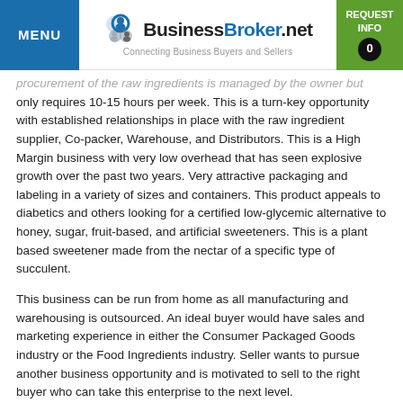MENU | BusinessBroker.net Connecting Business Buyers and Sellers | REQUEST INFO 0
procurement of the raw ingredients is managed by the owner but only requires 10-15 hours per week. This is a turn-key opportunity with established relationships in place with the raw ingredient supplier, Co-packer, Warehouse, and Distributors. This is a High Margin business with very low overhead that has seen explosive growth over the past two years. Very attractive packaging and labeling in a variety of sizes and containers. This product appeals to diabetics and others looking for a certified low-glycemic alternative to honey, sugar, fruit-based, and artificial sweeteners. This is a plant based sweetener made from the nectar of a specific type of succulent.
This business can be run from home as all manufacturing and warehousing is outsourced. An ideal buyer would have sales and marketing experience in either the Consumer Packaged Goods industry or the Food Ingredients industry. Seller wants to pursue another business opportunity and is motivated to sell to the right buyer who can take this enterprise to the next level.
SERIOUS BUYERS ONLY PLEASE> This sale is highly confidential and all inquiring parties will be required to complete a non-